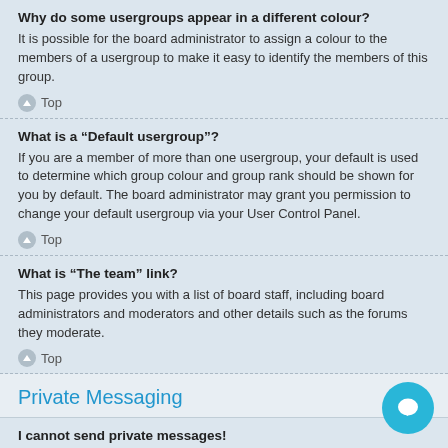Why do some usergroups appear in a different colour?
It is possible for the board administrator to assign a colour to the members of a usergroup to make it easy to identify the members of this group.
Top
What is a “Default usergroup”?
If you are a member of more than one usergroup, your default is used to determine which group colour and group rank should be shown for you by default. The board administrator may grant you permission to change your default usergroup via your User Control Panel.
Top
What is “The team” link?
This page provides you with a list of board staff, including board administrators and moderators and other details such as the forums they moderate.
Top
Private Messaging
I cannot send private messages!
There are three reasons for this; you are not registered and/or not logged in, the board administrator has disabled private messaging for the entire board, or